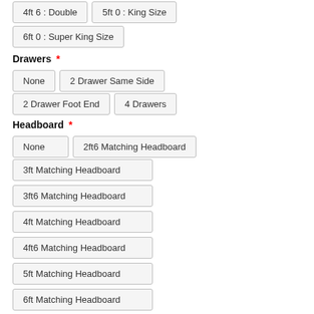4ft 6 : Double
5ft 0 : King Size
6ft 0 : Super King Size
Drawers *
None
2 Drawer Same Side
2 Drawer Foot End
4 Drawers
Headboard *
None
2ft6 Matching Headboard
3ft Matching Headboard
3ft6 Matching Headboard
4ft Matching Headboard
4ft6 Matching Headboard
5ft Matching Headboard
6ft Matching Headboard